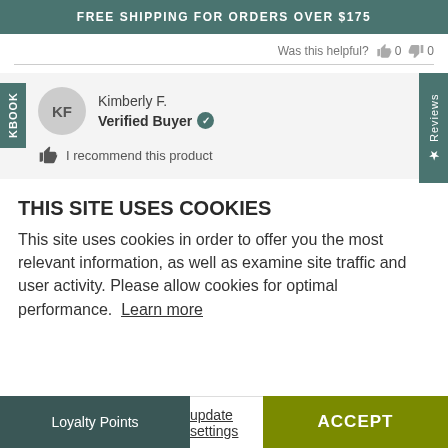FREE SHIPPING FOR ORDERS OVER $175
Was this helpful? 👍 0 👎 0
KF
Kimberly F.
Verified Buyer
I recommend this product
THIS SITE USES COOKIES
This site uses cookies in order to offer you the most relevant information, as well as examine site traffic and user activity. Please allow cookies for optimal performance. Learn more
update settings
Loyalty Points
ACCEPT